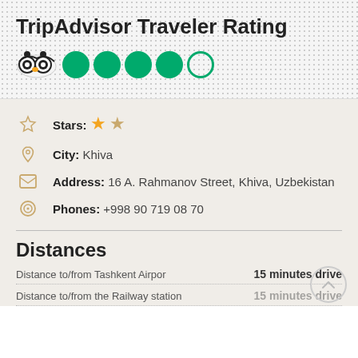TripAdvisor Traveler Rating
[Figure (logo): TripAdvisor owl logo followed by 5 green circles (rating bubbles), 4 filled and 1 outline]
Stars: 1 filled star, 1 empty star
City: Khiva
Address: 16 A. Rahmanov Street, Khiva, Uzbekistan
Phones: +998 90 719 08 70
Distances
Distance to/from Tashkent Airpor	15 minutes drive
Distance to/from the Railway station	15 minutes drive